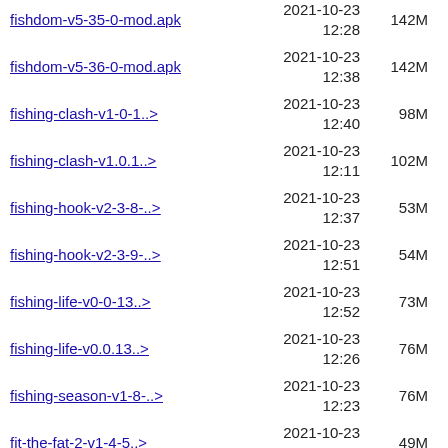fishdom-v5-35-0-mod.apk  2021-10-23 12:28  142M
fishdom-v5-36-0-mod.apk  2021-10-23 12:38  142M
fishing-clash-v1-0-1..>  2021-10-23 12:40  98M
fishing-clash-v1.0.1..>  2021-10-23 12:11  102M
fishing-hook-v2-3-8-..>  2021-10-23 12:37  53M
fishing-hook-v2-3-9-..>  2021-10-23 12:51  54M
fishing-life-v0-0-13..>  2021-10-23 12:52  73M
fishing-life-v0.0.13..>  2021-10-23 12:26  76M
fishing-season-v1-8-..>  2021-10-23 12:23  76M
fit-the-fat-2-v1-4-5..>  2021-10-23 12:26  49M
fitness-gym-v6.3-mod..>  2021-10-23 12:30  32M
five-heroes-the-king..>  2021-10-23 12:49  99M